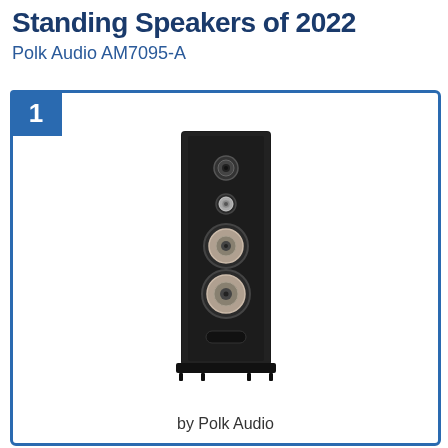Standing Speakers of 2022
Polk Audio AM7095-A
[Figure (photo): Tall black floor-standing tower speaker (Polk Audio AM7095-A) with multiple drivers visible on the front baffle, ranked #1]
by Polk Audio